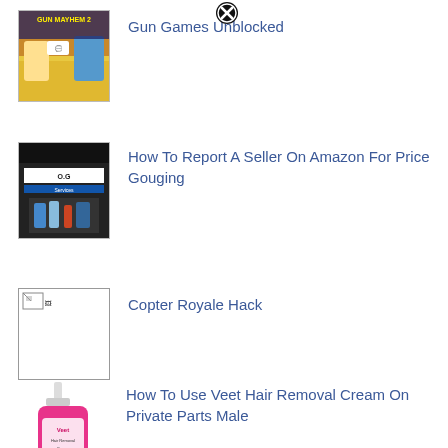[Figure (screenshot): Gun Mayhem 2 game thumbnail with cartoon characters]
Gun Games Unblocked
[Figure (photo): O.G Services storefront photo]
How To Report A Seller On Amazon For Price Gouging
[Figure (illustration): Broken image placeholder for Copter Royale Hack]
Copter Royale Hack
[Figure (photo): Veet hair removal cream bottle, pink]
How To Use Veet Hair Removal Cream On Private Parts Male